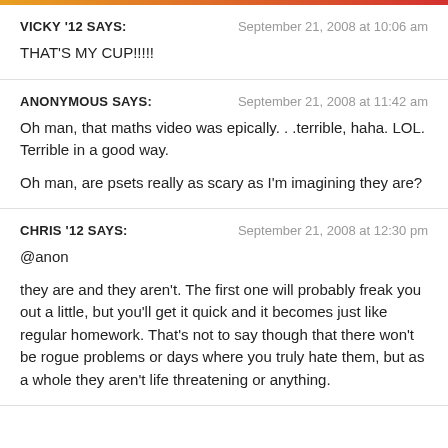VICKY '12 SAYS: | September 21, 2008 at 10:06 am
THAT'S MY CUP!!!!!
ANONYMOUS SAYS: | September 21, 2008 at 11:42 am
Oh man, that maths video was epically. . .terrible, haha. LOL. Terrible in a good way.

Oh man, are psets really as scary as I'm imagining they are?
CHRIS '12 SAYS: | September 21, 2008 at 12:30 pm
@anon

they are and they aren't. The first one will probably freak you out a little, but you'll get it quick and it becomes just like regular homework. That's not to say though that there won't be rogue problems or days where you truly hate them, but as a whole they aren't life threatening or anything.